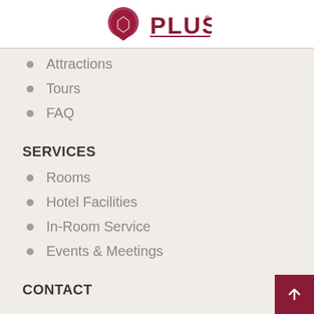[Figure (logo): Hotel logo with red emblem and PLUS text in dark red]
Attractions
Tours
FAQ
SERVICES
Rooms
Hotel Facilities
In-Room Service
Events & Meetings
CONTACT
(+30) 210 6415000
(+30) 210 6471184
info@ambassyhotel.gr